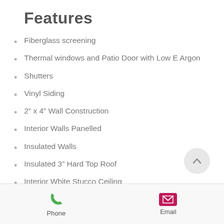Features
Fiberglass screening
Thermal windows and Patio Door with Low E Argon
Shutters
Vinyl Siding
2” x 4” Wall Construction
Interior Walls Panelled
Insulated Walls
Insulated 3” Hard Top Roof
Interior White Stucco Ceiling
Eavestrough & Downpipe
Phone   Email